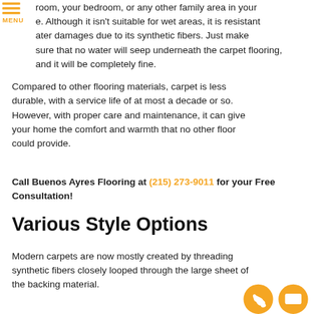room, your bedroom, or any other family area in your e. Although it isn't suitable for wet areas, it is resistant ater damages due to its synthetic fibers. Just make sure that no water will seep underneath the carpet flooring, and it will be completely fine.
Compared to other flooring materials, carpet is less durable, with a service life of at most a decade or so. However, with proper care and maintenance, it can give your home the comfort and warmth that no other floor could provide.
Call Buenos Ayres Flooring at (215) 273-9011 for your Free Consultation!
Various Style Options
Modern carpets are now mostly created by threading synthetic fibers closely looped through the large sheet of the backing material.